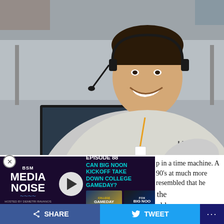[Figure (photo): Man wearing a headset and grey Under Armour pullover, smiling and leaning forward at a desk with a computer monitor, in what appears to be a broadcast or press box setting.]
[Figure (screenshot): BSM Media Noise podcast overlay showing episode banner: 'EPISODE 88 - CAN BIG NOON KICKOFF TAKE DOWN COLLEGE GAMEDAY?' with College Gameday and Fox Big Noon Kickoff logos, a play button, and hosted by Demetri Ravanos.]
p in a time machine. A 90's at much more resembled that he 1950's. The house Zach television. After his parents divorced when he was seven, Bye's father took the television and his mother never replaced it. An old
[Figure (screenshot): Bottom social sharing bar with Facebook SHARE button (blue), Twitter TWEET button (light blue), and a dark blue more options (...) button.]